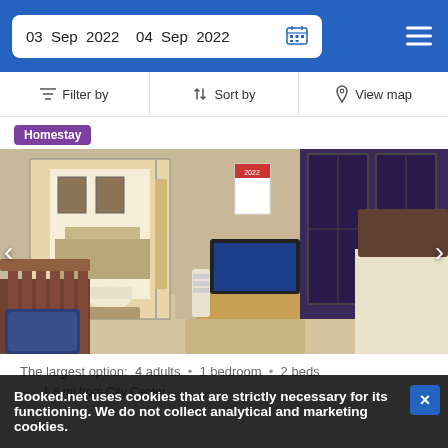03 Sep 2022   04 Sep 2022
Filter by   Sort by   View map
Homestay
[Figure (photo): Interior of a homestay room showing a wood-headboard bed with blue pillow on the left, a flat-screen TV on a media stand in the center, an attached bathroom visible through a doorway, and dark curtain-covered windows on the right.]
The largest option:  4 adults  •  1 bedroom  •  2 beds
1.8 mi from City Center
Booked.net uses cookies that are strictly necessary for its functioning. We do not collect analytical and marketing cookies.